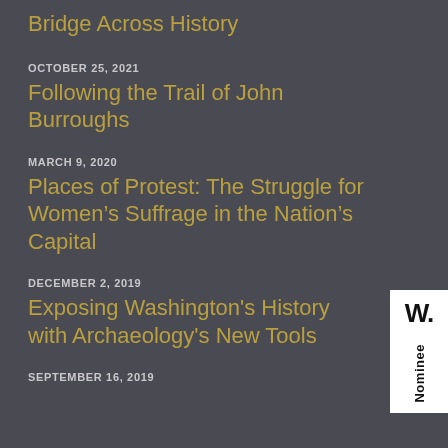Bridge Across History
OCTOBER 25, 2021
Following the Trail of John Burroughs
MARCH 9, 2020
Places of Protest: The Struggle for Women’s Suffrage in the Nation’s Capital
DECEMBER 2, 2019
Exposing Washington's History with Archaeology's New Tools
SEPTEMBER 16, 2019